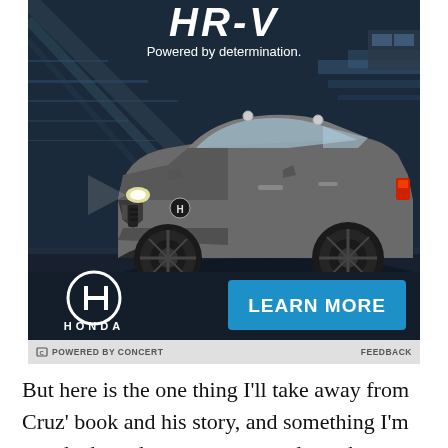[Figure (photo): Honda HR-V advertisement showing the SUV driving at speed in a dark tunnel/road setting. The ad includes the text 'HR-V' and 'Powered by determination.' at the top, the Honda logo and 'HONDA' wordmark at bottom left, and a blue 'LEARN MORE' button at bottom right.]
POWERED BY CONCERT   FEEDBACK
But here is the one thing I'll take away from Cruz' book and his story, and something I'm sure he hoped to convey to readers--that you should always keep